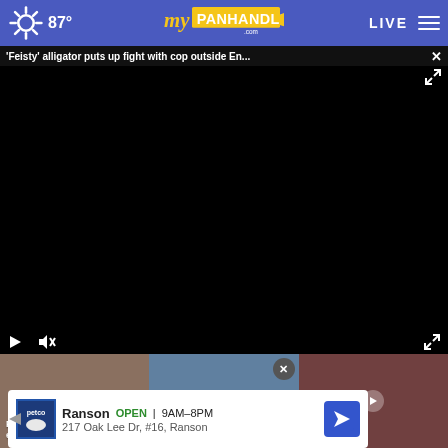87° myPanhandle.com LIVE ☰
'Feisty' alligator puts up fight with cop outside En...
[Figure (screenshot): Black video player area, paused/loading, with play button, mute button, and fullscreen expand icon]
Pineapple Willy's enco...
Monkeypox vaccine...
Callaw... to fill...
Ranson OPEN 9AM–8PM 217 Oak Lee Dr, #16, Ranson